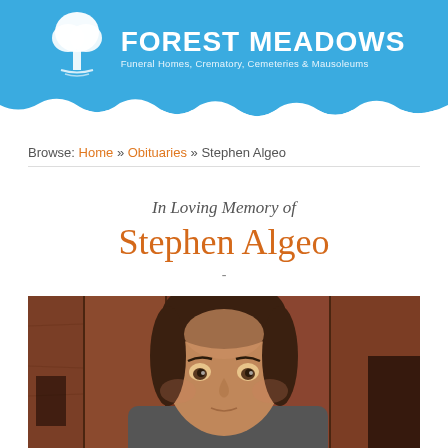Forest Meadows Funeral Homes, Crematory, Cemeteries & Mausoleums
Browse: Home » Obituaries » Stephen Algeo
In Loving Memory of Stephen Algeo
[Figure (photo): Close-up photograph of Stephen Algeo, a middle-aged man with dark hair, against a wooden background]